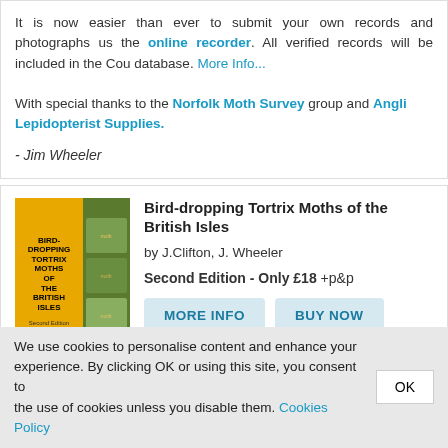It is now easier than ever to submit your own records and photographs using the online recorder. All verified records will be included in the County database. More Info...
With special thanks to the Norfolk Moth Survey group and Anglian Lepidopterist Supplies.
- Jim Wheeler
[Figure (photo): Book cover of Bird-dropping Tortrix Moths of the British Isles, Second Edition by Jon Clifton and Jim Wheeler]
Bird-dropping Tortrix Moths of the British Isles
by J.Clifton, J. Wheeler
Second Edition - Only £18 +p&p
MORE INFO | BUY NOW
We need your photos
If you have photos of any moths featured on this site, and would like them displayed along with your name and comments... Please send them in (any size, jpg images).
We use cookies to personalise content and enhance your experience. By clicking OK or using this site, you consent to the use of cookies unless you disable them. Cookies Policy